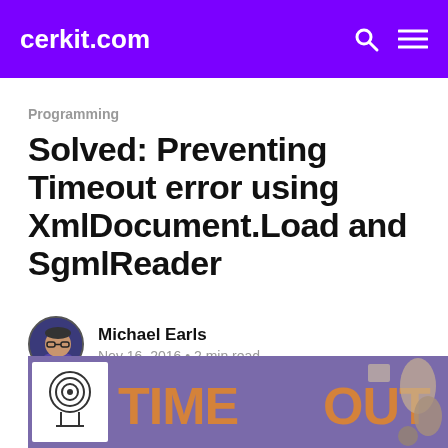cerkit.com
Programming
Solved: Preventing Timeout error using XmlDocument.Load and SgmlReader
Michael Earls
Nov 16, 2016 • 2 min read
[Figure (photo): Hero image showing text TIME OUT with graphic design elements]